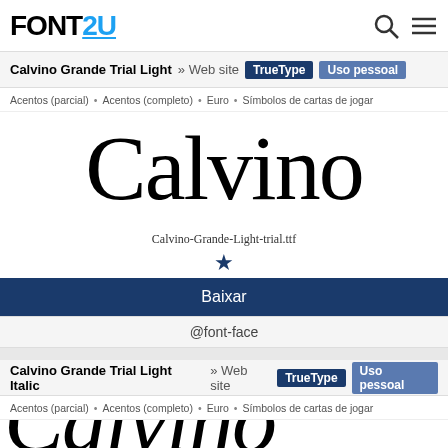Fonts2U
Calvino Grande Trial Light » Web site TrueType Uso pessoal
Acentos (parcial) • Acentos (completo) • Euro • Símbolos de cartas de jogar
[Figure (other): Large font preview showing 'Calvino' in light serif typeface]
Calvino-Grande-Light-trial.ttf
★
Baixar
@font-face
Calvino Grande Trial Light Italic » Web site TrueType Uso pessoal
Acentos (parcial) • Acentos (completo) • Euro • Símbolos de cartas de jogar
[Figure (other): Partial font preview showing italic 'Calvi...' text cut off at bottom]